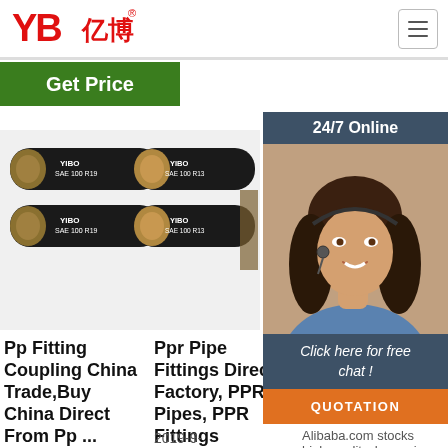[Figure (logo): YB亿博 logo in red text]
Get Price
[Figure (photo): 24/7 Online customer service agent with headset, with Click here for free chat! and QUOTATION button]
[Figure (photo): Product images: two black rubber hoses labeled YIBO SAE 100 R19 (left) and two hoses labeled YIBO SAE 100 R13 (right)]
Pp Fitting Coupling China Trade,Buy China Direct From Pp ...
Ppr Pipe Fittings Direct Factory, PPR Pipes, PPR Fittings
Heavy Duty And Versatile Hose Pipe Accessories -
2019-9-
Alibaba.com stocks high-quality. hose pipe accessories in